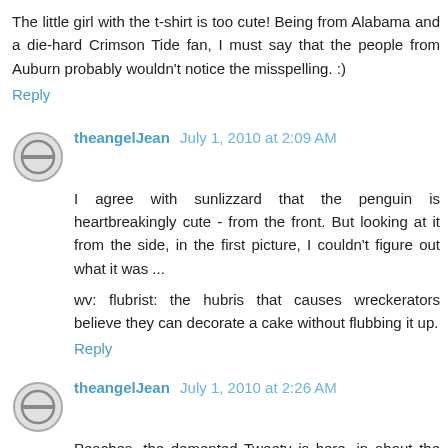The little girl with the t-shirt is too cute! Being from Alabama and a die-hard Crimson Tide fan, I must say that the people from Auburn probably wouldn't notice the misspelling. :)
Reply
theangelJean  July 1, 2010 at 2:09 AM
I agree with sunlizzard that the penguin is heartbreakingly cute - from the front. But looking at it from the side, in the first picture, I couldn't figure out what it was ...
wv: flubrist: the hubris that causes wreckerators believe they can decorate a cake without flubbing it up.
Reply
theangelJean  July 1, 2010 at 2:26 AM
Peaches, the demented Tweety is here, in about the middle of the post: